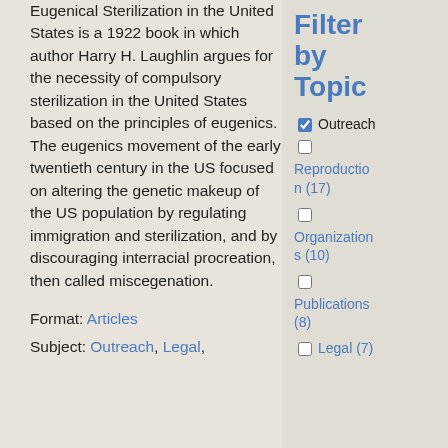Eugenical Sterilization in the United States is a 1922 book in which author Harry H. Laughlin argues for the necessity of compulsory sterilization in the United States based on the principles of eugenics. The eugenics movement of the early twentieth century in the US focused on altering the genetic makeup of the US population by regulating immigration and sterilization, and by discouraging interracial procreation, then called miscegenation.
Format: Articles
Subject: Outreach, Legal,
Filter by Topic
Outreach (checked)
Reproduction (17)
Organizations (10)
Publications (8)
Legal (7)